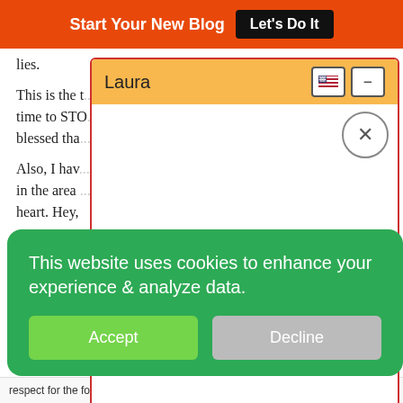Start Your New Blog | Let's Do It
lies.
This is the time to STO... blessed that...
Also, I have... in the area... heart. Hey,
Donna
Donna.Me...
Business
[Figure (screenshot): Chat popup widget with orange header labeled 'Laura', US flag icon, minus button, and X close button on white background with red border]
This website uses cookies to enhance your experience & analyze data.
Accept | Decline
respect for the forces of nature.  Powered by Steady Stream Leads